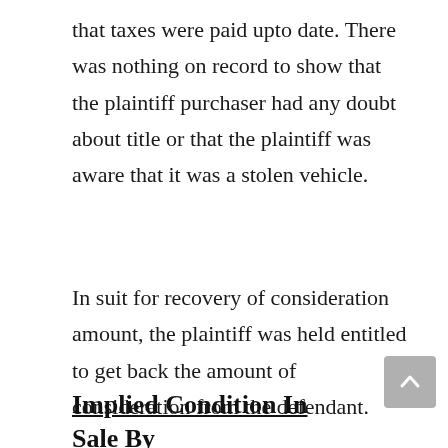that taxes were paid upto date. There was nothing on record to show that the plaintiff purchaser had any doubt about title or that the plaintiff was aware that it was a stolen vehicle.
In suit for recovery of consideration amount, the plaintiff was held entitled to get back the amount of consideration from the defendant.
Implied Condition In Sale By Description – Sec.15